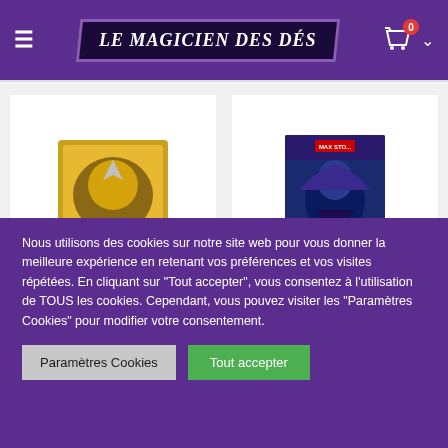LE MAGICIEN DES DÉS
[Figure (screenshot): Two product cards: left card shows a Yu-Gi-Oh! booster pack product with a red RUPTURE DE STOCK (out of stock) banner. Right card shows a Yu-Gi-Oh! manga/anime boxset product.]
Nous utilisons des cookies sur notre site web pour vous donner la meilleure expérience en retenant vos préférences et vos visites répétées. En cliquant sur "Tout accepter", vous consentez à l'utilisation de TOUS les cookies. Cependant, vous pouvez visiter les "Paramètres Cookies" pour modifier votre consentement.
Paramètres Cookies
Tout accepter